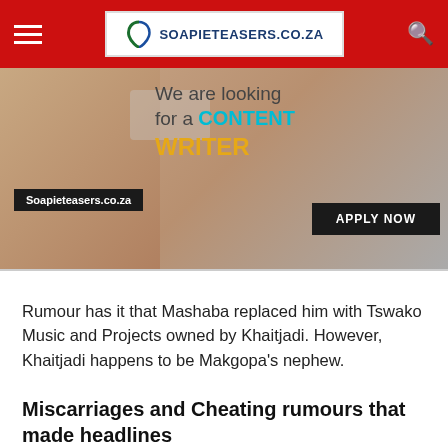soapieteasers.co.za
[Figure (illustration): Banner advertisement for Soapieteasers.co.za seeking a Content Writer with text 'We are looking for a CONTENT WRITER' and 'APPLY NOW' button]
Rumour has it that Mashaba replaced him with Tswako Music and Projects owned by Khaitjadi. However, Khaitjadi happens to be Makgopa's nephew.
Miscarriages and Cheating rumours that made headlines